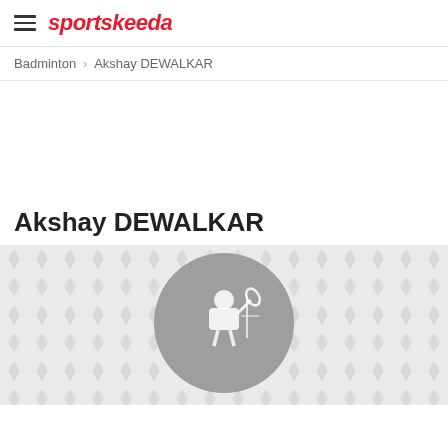sportskeeda
Badminton > Akshay DEWALKAR
Akshay DEWALKAR
[Figure (photo): Sportskeeda profile banner with diamond pattern background and grey circular placeholder avatar showing a badminton player silhouette icon]